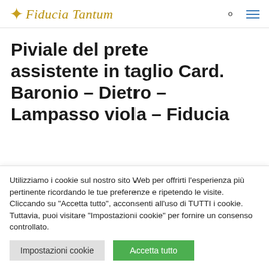Fiducia Tantum
Piviale del prete assistente in taglio Card. Baronio – Dietro – Lampasso viola – Fiducia
Utilizziamo i cookie sul nostro sito Web per offrirti l'esperienza più pertinente ricordando le tue preferenze e ripetendo le visite. Cliccando su "Accetta tutto", acconsenti all'uso di TUTTI i cookie. Tuttavia, puoi visitare "Impostazioni cookie" per fornire un consenso controllato.
Impostazioni cookie | Accetta tutto